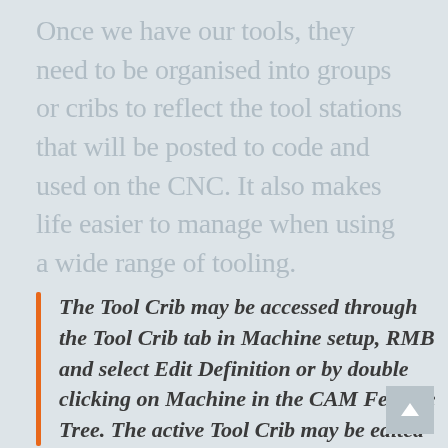Once we have our tools, they need to be organised into groups or cribs to reflect the tool stations that will be posted to code and used on the CNC. It also makes life easier to manage when using a wide range of tooling.
The Tool Crib may be accessed through the Tool Crib tab in Machine setup, RMB and select Edit Definition or by double clicking on Machine in the CAM Feature Tree. The active Tool Crib may be edited